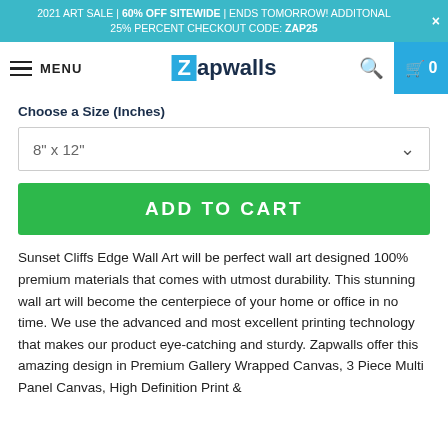2021 ART SALE | 60% OFF SITEWIDE | ENDS TOMORROW! ADDITONAL 25% PERCENT CHECKOUT CODE: ZAP25
[Figure (logo): Zapwalls logo with blue Z box and dark text]
Choose a Size (Inches)
8" x 12"
ADD TO CART
Sunset Cliffs Edge Wall Art will be perfect wall art designed 100% premium materials that comes with utmost durability. This stunning wall art will become the centerpiece of your home or office in no time. We use the advanced and most excellent printing technology that makes our product eye-catching and sturdy. Zapwalls offer this amazing design in Premium Gallery Wrapped Canvas, 3 Piece Multi Panel Canvas, High Definition Print &